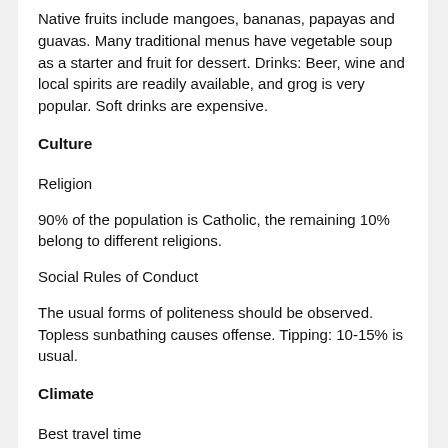Native fruits include mangoes, bananas, papayas and guavas. Many traditional menus have vegetable soup as a starter and fruit for dessert. Drinks: Beer, wine and local spirits are readily available, and grog is very popular. Soft drinks are expensive.
Culture
Religion
90% of the population is Catholic, the remaining 10% belong to different religions.
Social Rules of Conduct
The usual forms of politeness should be observed. Topless sunbathing causes offense. Tipping: 10-15% is usual.
Climate
Best travel time